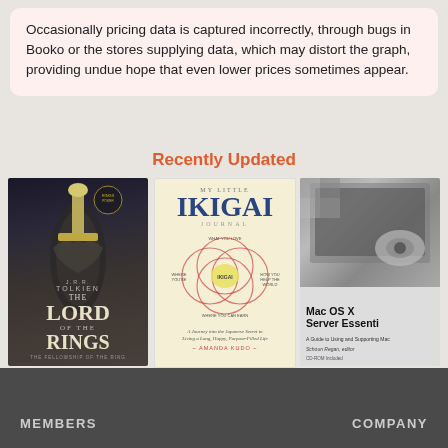Occasionally pricing data is captured incorrectly, through bugs in Booko or the stores supplying data, which may distort the graph, providing undue hope that even lower prices sometimes appear.
Recently Updated
[Figure (photo): Book cover: J.R.R. Tolkien The Lord of the Rings - The Fellowship of the Ring]
[Figure (photo): Book cover: My Little IKIGAI Journal - A Journey into the Japanese Secret to Living a Long, Happy, Purpose-Filled Life by Amanda Kudo]
[Figure (photo): Book cover: Mac OS X Server Essentials - A Guide to Using and Supporting Mac - with DVD included]
MEMBERS   COMPANY